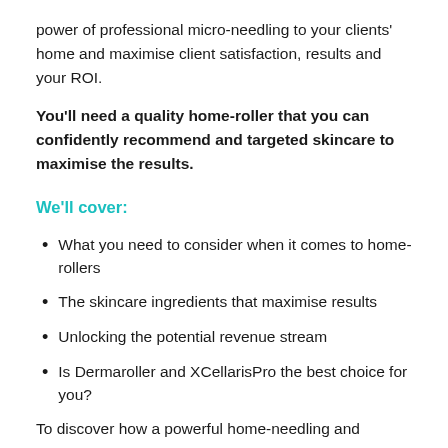power of professional micro-needling to your clients' home and maximise client satisfaction, results and your ROI.
You'll need a quality home-roller that you can confidently recommend and targeted skincare to maximise the results.
We'll cover:
What you need to consider when it comes to home-rollers
The skincare ingredients that maximise results
Unlocking the potential revenue stream
Is Dermaroller and XCellarisPro the best choice for you?
To discover how a powerful home-needling and